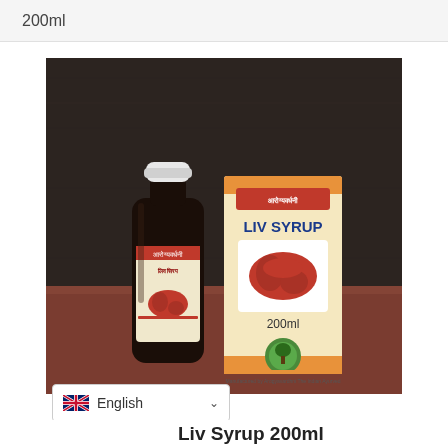200ml
[Figure (photo): Product photo showing a dark glass bottle of Liv Syrup 200ml with a white cap and cream-colored label with Hindi text and liver illustration, next to the product's cream-colored packaging box labeled 'LIV SYRUP' with a liver graphic and 200ml text, both placed on a reddish-brown surface against a dark wooden background.]
English
Liv Syrup 200ml